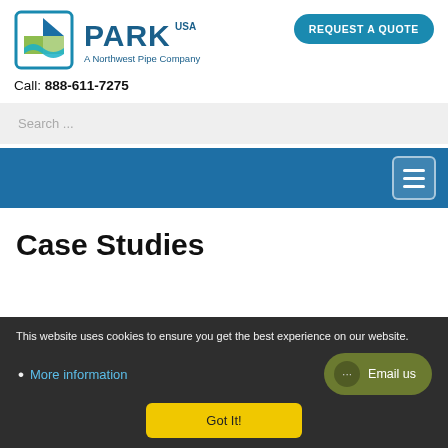[Figure (logo): Park USA - A Northwest Pipe Company logo with teal square border and geometric icon]
REQUEST A QUOTE
Call: 888-611-7275
Search ...
[Figure (other): Blue navigation bar with hamburger menu icon on the right]
Case Studies
This website uses cookies to ensure you get the best experience on our website.
More information
Got It!
Email us